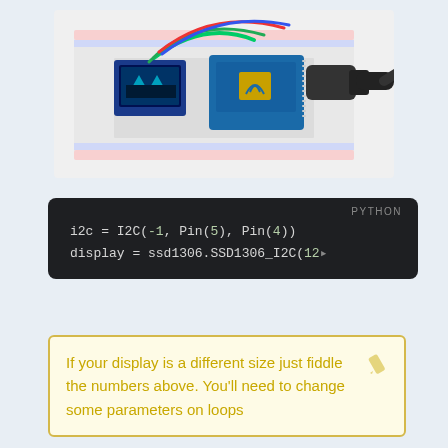[Figure (photo): Photo of an ESP8266 NodeMCU microcontroller and small OLED display mounted on a breadboard with red, blue, and green wires, connected via USB cable.]
PYTHON
i2c = I2C(-1, Pin(5), Pin(4))
display = ssd1306.SSD1306_I2C(12...
If your display is a different size just fiddle the numbers above. You'll need to change some parameters on loops